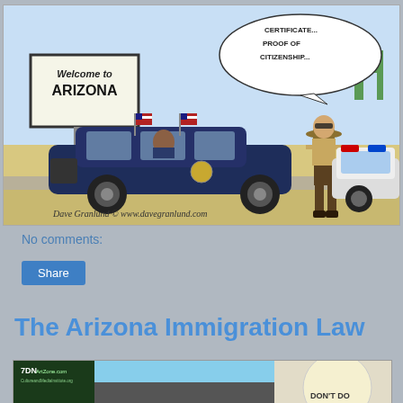[Figure (illustration): Political cartoon by Dave Granlund showing a presidential limousine with US flags stopped by an Arizona police officer asking for birth certificate and proof of citizenship, with a Welcome to Arizona sign and cacti in the background. Signed Dave Granlund © www.davegranlund.com]
No comments:
Share
The Arizona Immigration Law
[Figure (illustration): Second political cartoon partially visible at the bottom, showing ADN ArtZone.com / CultureandMediaInstitute.org logo on left, and a circular image with text 'DON'T DO' visible]